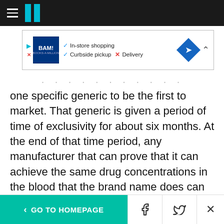HuffPost navigation bar with hamburger menu and logo
[Figure (screenshot): BAM! Books-A-Million advertisement banner showing In-store shopping (checkmark), Curbside pickup (checkmark), Delivery (X mark), and a blue diamond direction sign icon]
one specific generic to be the first to market. That generic is given a period of time of exclusivity for about six months. At the end of that time period, any manufacturer that can prove that it can achieve the same drug concentrations in the blood that the brand name does can make a generic. Manufacturers of generics aren't required to do studies in people to prove safety. It is assumed that if they can achieve same blood concentration, they will
< GO TO HOMEPAGE  [Facebook icon]  [Twitter icon]  X